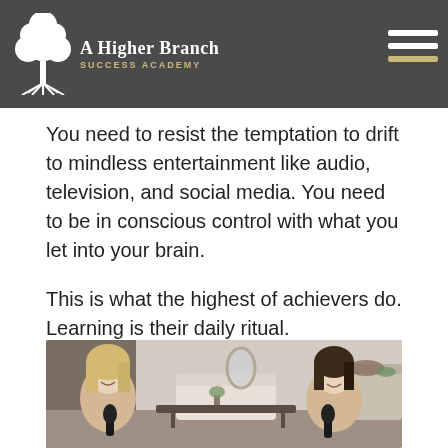A Higher Branch SUCCESS ACADEMY
You need to resist the temptation to drift to mindless entertainment like audio, television, and social media. You need to be in conscious control with what you let into your brain.
This is what the highest of achievers do. Learning is their daily ritual.
What Should You Learn?
[Figure (photo): Two women sitting in a living room setting having a conversation with microphones in front of them, appearing to record a podcast]